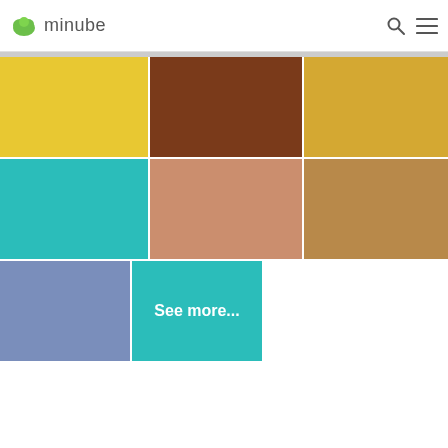minube
[Figure (screenshot): A grid of 8 colored image tiles: yellow, dark brown, golden yellow (row 1); teal, salmon/peach, tan/brown (row 2); slate blue, teal with 'See more...' text (row 3). Part of the minube travel website UI.]